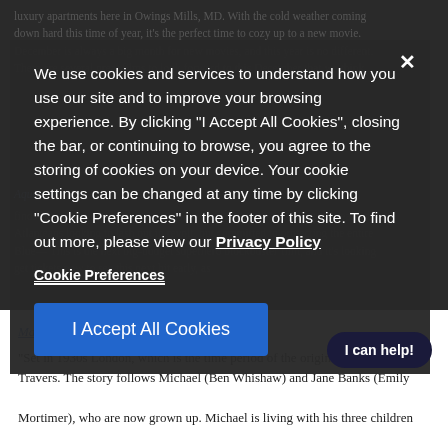luxury apartments here in Owings Mills, MD. With the cold weather coming down hard this time of year, it's the perfect time to cozy up to a new movie. December is always a big month for new movies, and this year is no different. There are several great films to look forward to this December that we think...
Aquaman
...finds himself caught between a surface world constantly ravaging the sea and Atlanteans looking to lash out in revolt, but committed to protecting the entire Blue... This is the next big-budget superhero blockbuster film, and it's looking...get tickets now to see this next hit early, as...
We use cookies and services to understand how you use our site and to improve your browsing experience. By clicking "I Accept All Cookies", closing the bar, or continuing to browse, you agree to the storing of cookies on your device. Your cookie settings can be changed at any time by clicking "Cookie Preferences" in the footer of this site. To find out more, please view our Privacy Policy
Cookie Preferences
I Accept All Cookies
Mary Poppins Returns
"Set in 1930s London, which is the time period of the original Travers. The story follows Michael (Ben Whishaw) and Jane Banks (Emily Mortimer), who are now grown up. Michael is living with his three children (Pixie Davies, Nathanael Saleh, and Joel Dawson) and housekeeper Ellen (Julie Walters), in the house on Cherry Tree Lane. After Michael has a personal loss,
I can help!